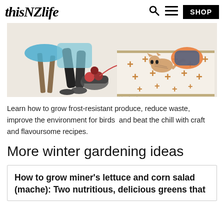thisNZlife | SHOP
[Figure (illustration): Illustrated scene with a cat lying on a decorative rug with cross patterns, yarn balls in a basket, and chair legs visible]
Learn how to grow frost-resistant produce, reduce waste, improve the environment for birds and beat the chill with craft and flavoursome recipes.
More winter gardening ideas
How to grow miner's lettuce and corn salad (mache): Two nutritious, delicious greens that…